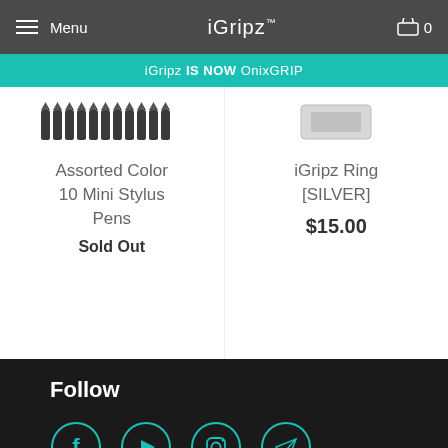Menu | iGripz™ | 0
iGripz IS NOW OnixGRIP
[Figure (photo): Assorted color mini stylus pens arranged in a row]
Assorted Color 10 Mini Stylus Pens
Sold Out
[Figure (photo): iGripz Ring [SILVER] product image]
iGripz Ring [SILVER]
$15.00
Follow
[Figure (infographic): Social media icons: Facebook, YouTube, Instagram, Telegram — teal circles on dark background]